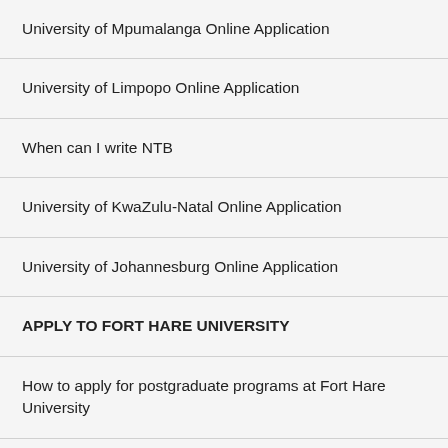University of Mpumalanga Online Application
University of Limpopo Online Application
When can I write NTB
University of KwaZulu-Natal Online Application
University of Johannesburg Online Application
APPLY TO FORT HARE UNIVERSITY
How to apply for postgraduate programs at Fort Hare University
How to apply for undergraduate programs at Fort Hare University